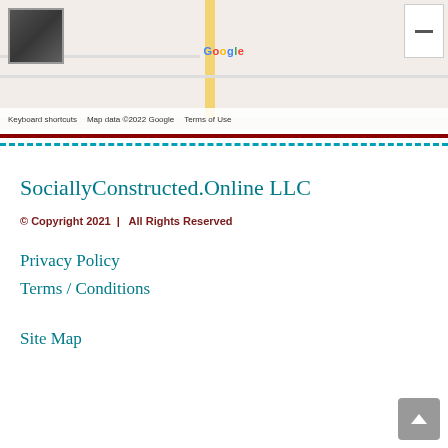[Figure (screenshot): Google Maps screenshot showing a street map with a thumbnail of satellite view, Google logo, keyboard shortcuts, map data credit and terms of use, and map controls.]
SociallyConstructed.Online LLC
© Copyright 2021  |   All Rights Reserved
Privacy Policy
Terms / Conditions
Site Map